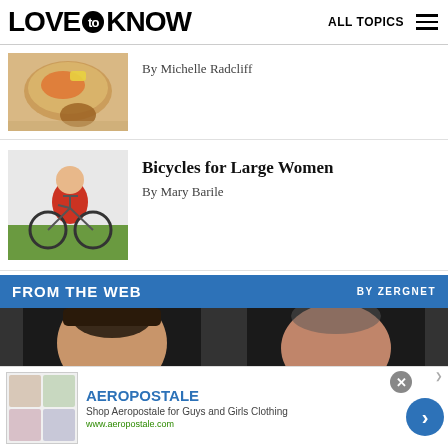LOVE to KNOW | ALL TOPICS
By Michelle Radcliff
[Figure (photo): Wicker outdoor chair with orange cushion and round wooden pot]
Bicycles for Large Women
By Mary Barile
[Figure (photo): Large woman in red top riding a bicycle outdoors]
[Figure (photo): FROM THE WEB by Zergnet banner with two photos of men's faces]
[Figure (photo): Aeropostale advertisement with clothing images, brand name, tagline, and URL]